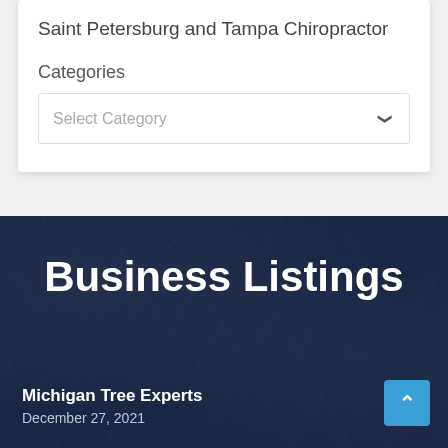Saint Petersburg and Tampa Chiropractor
Categories
Select Category
Business Listings
Michigan Tree Experts
December 27, 2021